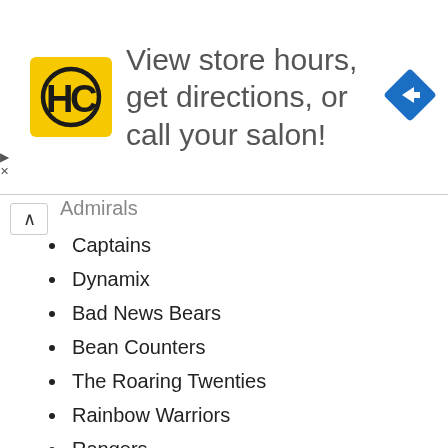[Figure (infographic): Advertisement banner with HC logo (yellow square with HC text), text 'View store hours, get directions, or call your salon!', and a blue diamond navigation icon on the right.]
Admirals (partial, truncated)
Captains
Dynamix
Bad News Bears
Bean Counters
The Roaring Twenties
Rainbow Warriors
Rangers
Kingsmen
Avalanche
Dangerous Rocks
Astros